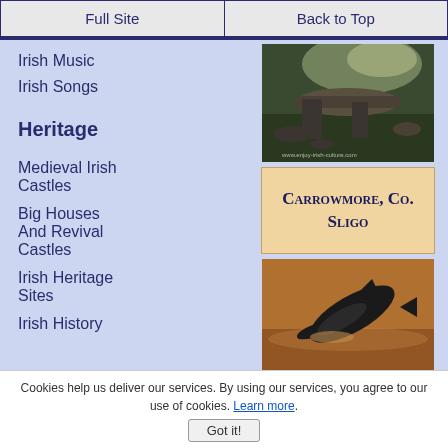Full Site | Back to Top
Irish Music
Irish Songs
Heritage
[Figure (photo): Photograph of ancient stone monuments at Carrowmore, Co. Sligo — large flat stones forming a dolmen on a green field under a cloudy sky, watermark www.enjoy-irish-culture.com]
Medieval Irish Castles
[Figure (other): Beige/tan textbox with text: CARROWMORE, CO. SLIGO in small-caps bold serif font]
Big Houses And Revival Castles
Irish Heritage Sites
[Figure (photo): Photograph of a dolphin leaping out of warm-toned water at sunset]
Irish History
Cookies help us deliver our services. By using our services, you agree to our use of cookies. Learn more. Got it!